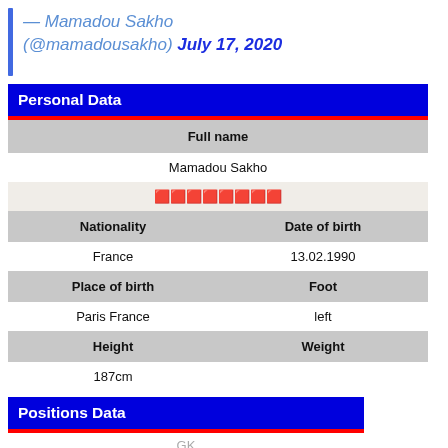— Mamadou Sakho (@mamadousakho) July 17, 2020
| Personal Data |
| --- |
| Full name |
| Mamadou Sakho |
| 🟥🟥🟥🟥🟥🟥🟥🟥 |
| Nationality | Date of birth |
| France | 13.02.1990 |
| Place of birth | Foot |
| Paris France | left |
| Height | Weight |
| 187cm |  |
| Positions Data |
| --- |
| GK |